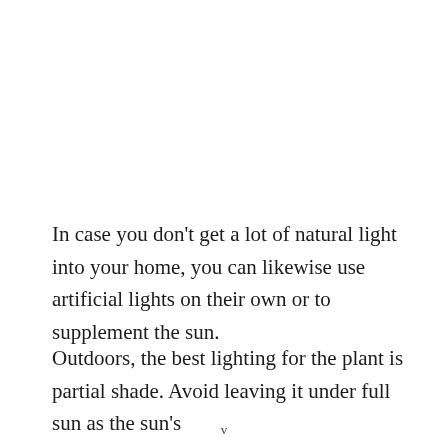In case you don't get a lot of natural light into your home, you can likewise use artificial lights on their own or to supplement the sun.
Outdoors, the best lighting for the plant is partial shade. Avoid leaving it under full sun as the sun's
v